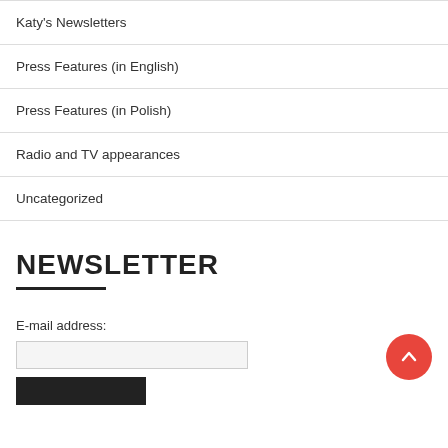Katy's Newsletters
Press Features (in English)
Press Features (in Polish)
Radio and TV appearances
Uncategorized
NEWSLETTER
E-mail address: